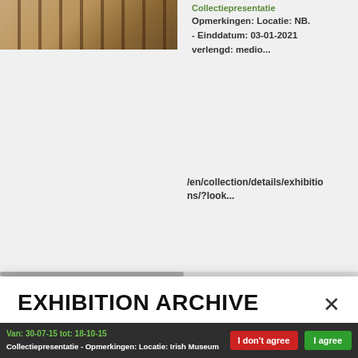[Figure (screenshot): Partial background showing a wooden staircase railing image on the left and Dutch text on the right including bold remarks about location and end date.]
Collectiepresentatie Opmerkingen: Locatie: NB. - Einddatum: 03-01-2021 verlengd: medio...
/en/collection/details/exhibitions/ns/?look...
EXHIBITION ARCHIVE
There are several ways to search within our archives. The best way to start is by clicking on the magnifying glass at the top right. In the result page you can filter by archive. You can also browse through our artworks: on the detail page you'll see links below to relevant artworks, books and exhibitions.
Van: 30-07-15 tot: 18-10-15 Collectiepresentatie - Opmerkingen: Locatie: Irish Museum...
I don't agree
I agree